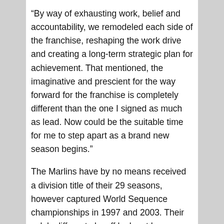“By way of exhausting work, belief and accountability, we remodeled each side of the franchise, reshaping the work drive and creating a long-term strategic plan for achievement. That mentioned, the imaginative and prescient for the way forward for the franchise is completely different than the one I signed as much as lead. Now could be the suitable time for me to step apart as a brand new season begins.”
The Marlins have by no means received a division title of their 29 seasons, however captured World Sequence championships in 1997 and 2003. Their solely different playoff look got here below Jeter’s course within the expanded format in 2020, after they have been 31-29 and received a first-round sequence in opposition to the Chicago Cubs.
In Jeter’s three full seasons, nevertheless, the staff has misplaced 98, 105 and 95 video games, whereas persevering with the franchise’s sample of meager payrolls and poor attendance. The Marlins ranked twenty